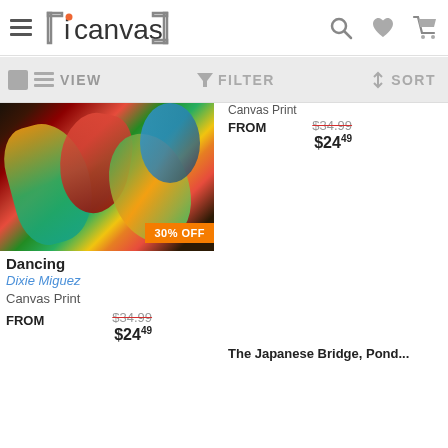iCanvas
[Figure (screenshot): iCanvas app header with hamburger menu, logo, search, heart, and cart icons]
[Figure (screenshot): Toolbar with VIEW, FILTER, SORT controls]
[Figure (photo): Painting: Dancing by Dixie Miguez - colorful floral/abstract canvas print, 30% OFF badge]
Canvas Print
FROM  $34.99  $24.49
Dancing
Dixie Miguez
Canvas Print
FROM  $34.99  $24.49
[Figure (photo): The Japanese Bridge, Pond... painting - Monet impressionist garden scene with bridge, 50% OFF badge, 433 hearts]
The Japanese Bridge, Pond...
[Figure (photo): Colorful painting partially visible at bottom left with heart badge showing 77]